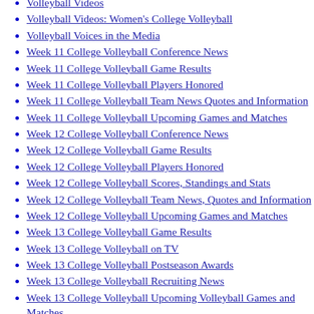Volleyball Videos
Volleyball Videos: Women's College Volleyball
Volleyball Voices in the Media
Week 11 College Volleyball Conference News
Week 11 College Volleyball Game Results
Week 11 College Volleyball Players Honored
Week 11 College Volleyball Team News Quotes and Information
Week 11 College Volleyball Upcoming Games and Matches
Week 12 College Volleyball Conference News
Week 12 College Volleyball Game Results
Week 12 College Volleyball Players Honored
Week 12 College Volleyball Scores, Standings and Stats
Week 12 College Volleyball Team News, Quotes and Information
Week 12 College Volleyball Upcoming Games and Matches
Week 13 College Volleyball Game Results
Week 13 College Volleyball on TV
Week 13 College Volleyball Postseason Awards
Week 13 College Volleyball Recruiting News
Week 13 College Volleyball Upcoming Volleyball Games and Matches
Week 13 NCAA College Conference Volleyball Schedule
Week 14 College Volleyball Game results
Week 14 College Volleyball Game results, quotes
Week 14 College Volleyball Players Honored